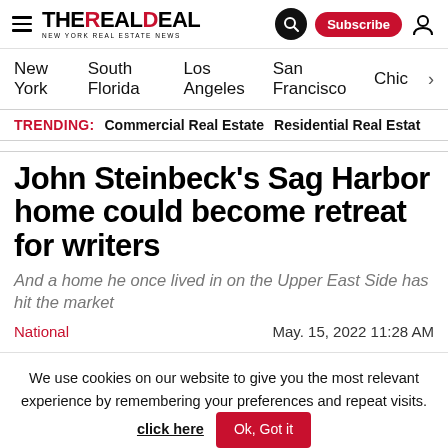THE REAL DEAL — New York Real Estate News
New York  South Florida  Los Angeles  San Francisco  Chic >
TRENDING: Commercial Real Estate  Residential Real Estate
John Steinbeck's Sag Harbor home could become retreat for writers
And a home he once lived in on the Upper East Side has hit the market
National  May. 15, 2022 11:28 AM
We use cookies on our website to give you the most relevant experience by remembering your preferences and repeat visits. click here  Ok, Got it